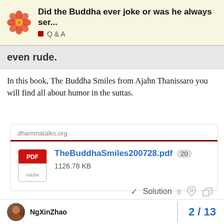Did the Buddha ever joke or was he always ser... Q & A
even rude.
In this book, The Buddha Smiles from Ajahn Thanissaro you will find all about humor in the suttas.
[Figure (other): Link card for dhammatalks.org with PDF attachment TheBuddhaSmiles200728.pdf (20 downloads), 1126.78 KB]
✓ Solution 8 ♡ 🔗
NgXinZhao 2 / 13